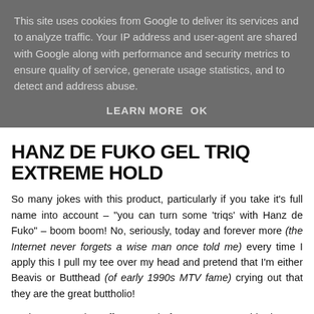This site uses cookies from Google to deliver its services and to analyze traffic. Your IP address and user-agent are shared with Google along with performance and security metrics to ensure quality of service, generate usage statistics, and to detect and address abuse.
LEARN MORE   OK
HANZ DE FUKO GEL TRIQ EXTREME HOLD
So many jokes with this product, particularly if you take it's full name into account – "you can turn some 'triqs' with Hanz de Fuko" – boom boom! No, seriously, today and forever more (the Internet never forgets a wise man once told me) every time I apply this I pull my tee over my head and pretend that I'm either Beavis or Butthead (of early 1990s MTV fame) crying out that they are the great buttholio!
Anyhow, I'm going off on one before I've even said what I'm going to be reviewing today – which is Hanz de Fuko Triq Extreme Hold Gel which was one of the brand's debut...